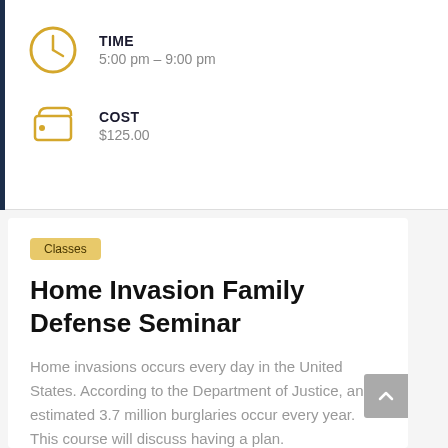[Figure (illustration): Gold clock icon circle with clock hands]
TIME
5:00 pm – 9:00 pm
[Figure (illustration): Gold wallet/purse icon]
COST
$125.00
Classes
Home Invasion Family Defense Seminar
Home invasions occurs every day in the United States. According to the Department of Justice, an estimated 3.7 million burglaries occur every year. This course will discuss having a plan.